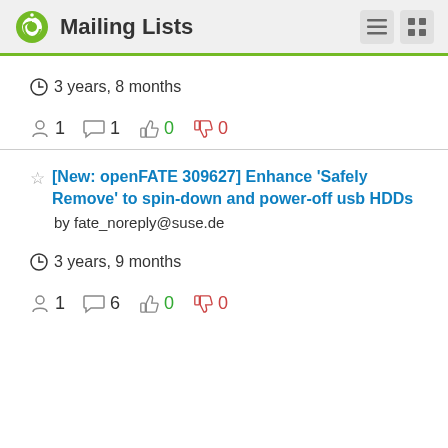Mailing Lists
3 years, 8 months
1  1  0  0
[New: openFATE 309627] Enhance 'Safely Remove' to spin-down and power-off usb HDDs
by fate_noreply@suse.de
3 years, 9 months
1  6  0  0